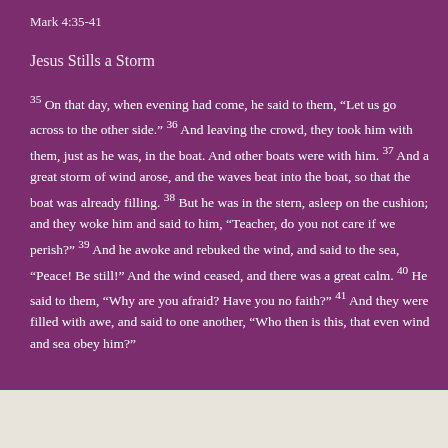Mark 4:35-41
Jesus Stills a Storm
35 On that day, when evening had come, he said to them, “Let us go across to the other side.” 36 And leaving the crowd, they took him with them, just as he was, in the boat. And other boats were with him. 37 And a great storm of wind arose, and the waves beat into the boat, so that the boat was already filling. 38 But he was in the stern, asleep on the cushion; and they woke him and said to him, “Teacher, do you not care if we perish?” 39 And he awoke and rebuked the wind, and said to the sea, “Peace! Be still!” And the wind ceased, and there was a great calm. 40 He said to them, “Why are you afraid? Have you no faith?” 41 And they were filled with awe, and said to one another, “Who then is this, that even wind and sea obey him?”